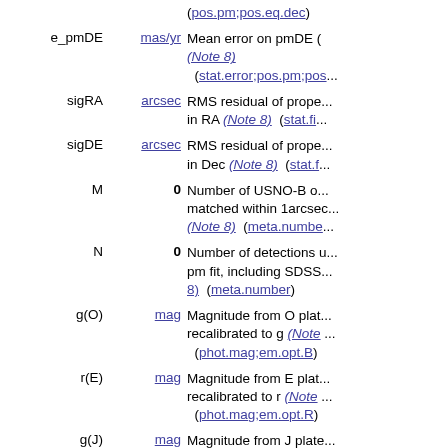(pos.pm;pos.eq.dec)
e_pmDE  mas/yr  Mean error on pmDE (Note 8) (stat.error;pos.pm;pos...)
sigRA  arcsec  RMS residual of prope... in RA (Note 8) (stat.fi...
sigDE  arcsec  RMS residual of prope... in Dec (Note 8) (stat.f...
M  0  Number of USNO-B o... matched within 1arcsec... (Note 8) (meta.numbe...
N  0  Number of detections u... pm fit, including SDSS... 8) (meta.number)
g(O)  mag  Magnitude from O plat... recalibrated to g (Note ... (phot.mag;em.opt.B)
r(E)  mag  Magnitude from E plat... recalibrated to r (Note ... (phot.mag;em.opt.R)
g(J)  mag  Magnitude from J plate... to g (Note 8) (phot.ma...
r(F)  mag  Magnitude from F plat...